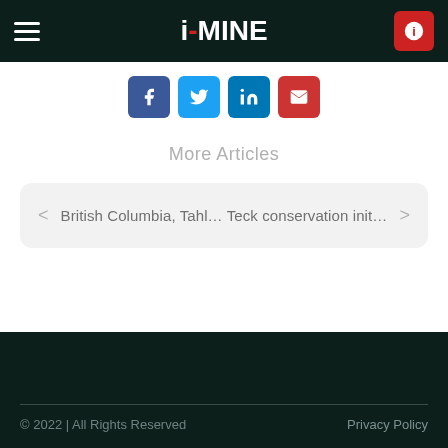i-MINE
[Figure (infographic): Social sharing buttons: Facebook, Twitter, LinkedIn, Email]
More Articles
< British Columbia, Tahl… Teck conservation init… >
© 2022 | All Rights Reserved    Privacy Policy